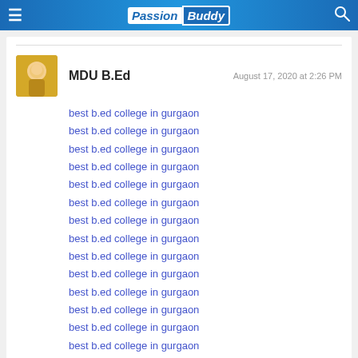PassionBuddy
MDU B.Ed   August 17, 2020 at 2:26 PM
best b.ed college in gurgaon
best b.ed college in gurgaon
best b.ed college in gurgaon
best b.ed college in gurgaon
best b.ed college in gurgaon
best b.ed college in gurgaon
best b.ed college in gurgaon
best b.ed college in gurgaon
best b.ed college in gurgaon
best b.ed college in gurgaon
best b.ed college in gurgaon
best b.ed college in gurgaon
best b.ed college in gurgaon
best b.ed college in gurgaon